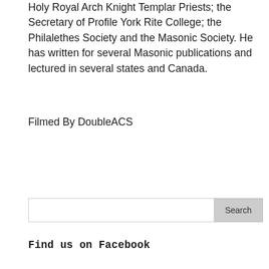Holy Royal Arch Knight Templar Priests; the Secretary of Profile York Rite College; the Philalethes Society and the Masonic Society. He has written for several Masonic publications and lectured in several states and Canada.
Filmed By DoubleACS
Search
Find us on Facebook